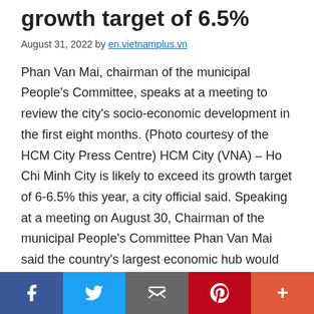growth target of 6.5%
August 31, 2022 by en.vietnamplus.vn
Phan Van Mai, chairman of the municipal People’s Committee, speaks at a meeting to review the city’s socio-economic development in the first eight months. (Photo courtesy of the HCM City Press Centre) HCM City (VNA) – Ho Chi Minh City is likely to exceed its growth target of 6-6.5% this year, a city official said. Speaking at a meeting on August 30, Chairman of the municipal People’s Committee Phan Van Mai said the country’s largest economic hub would focus on speeding up disbursement of public investment in the remaining